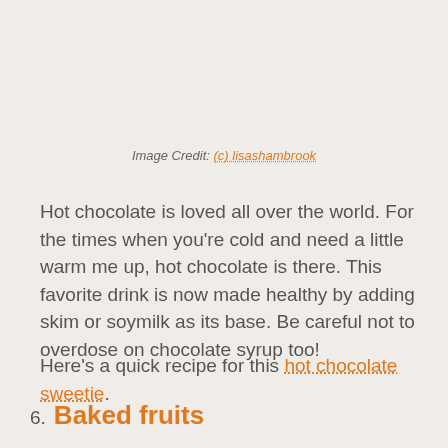Image Credit: (c) lisashambrook
Hot chocolate is loved all over the world. For the times when you're cold and need a little warm me up, hot chocolate is there. This favorite drink is now made healthy by adding skim or soymilk as its base. Be careful not to overdose on chocolate syrup too!
Here's a quick recipe for this hot chocolate sweetie.
6. Baked fruits